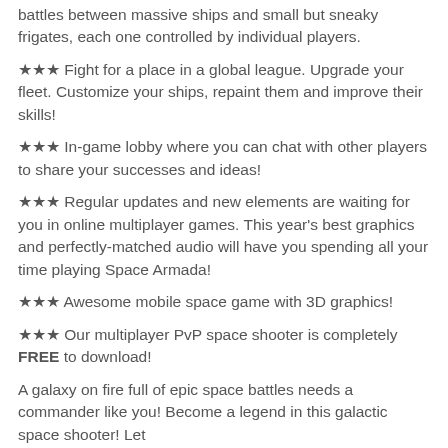battles between massive ships and small but sneaky frigates, each one controlled by individual players.
★★★ Fight for a place in a global league. Upgrade your fleet. Customize your ships, repaint them and improve their skills!
★★★ In-game lobby where you can chat with other players to share your successes and ideas!
★★★ Regular updates and new elements are waiting for you in online multiplayer games. This year's best graphics and perfectly-matched audio will have you spending all your time playing Space Armada!
★★★ Awesome mobile space game with 3D graphics!
★★★ Our multiplayer PvP space shooter is completely FREE to download!
A galaxy on fire full of epic space battles needs a commander like you! Become a legend in this galactic space shooter! Let